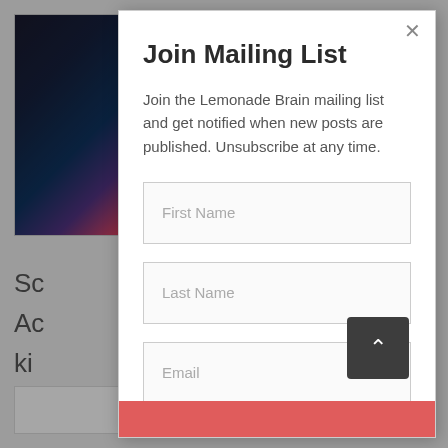[Figure (screenshot): Background webpage with a colorful photo on the left and partial text content including letters Sc, Ac, ki, Ma visible behind a modal overlay]
Join Mailing List
Join the Lemonade Brain mailing list and get notified when new posts are published. Unsubscribe at any time.
First Name
Last Name
Email